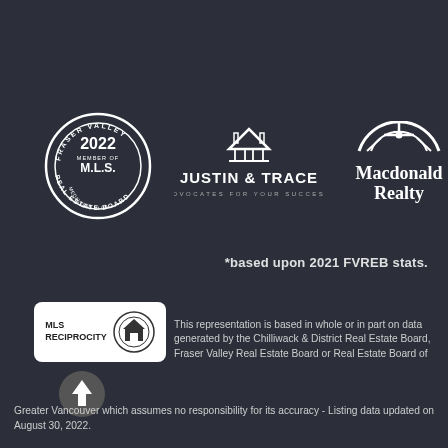[Figure (logo): Fraser Valley Real Estate Board 2022 MLS Medallion Club member circular badge]
[Figure (logo): Justin & Trace – Advocates For Your Success real estate team logo with house icon]
[Figure (logo): Macdonald Realty logo with compass/target icon]
*based upon 2021 FVREB stats.
[Figure (logo): MLS Reciprocity badge with house icon]
This representation is based in whole or in part on data generated by the Chilliwack & District Real Estate Board, Fraser Valley Real Estate Board or Real Estate Board of Greater Vancouver which assumes no responsibility for its accuracy - Listing data updated on August 30, 2022.